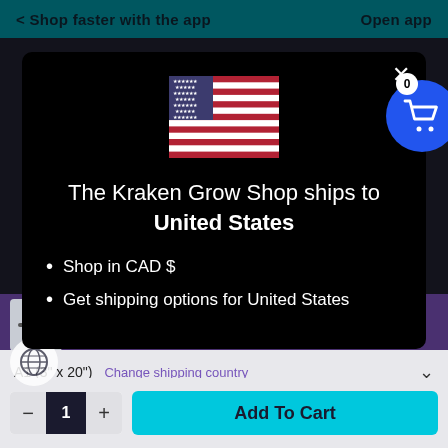< Shop faster with the app    Open app
The Kraken Grow Shop ships to United States
Shop in CAD $
Get shipping options for United States
AC Infinity Suncore Waterproof See
$17.99   Shop now
A1 (3" x 20")   Change shipping country
- 1 +   Add To Cart
The Kraken Grow Shop